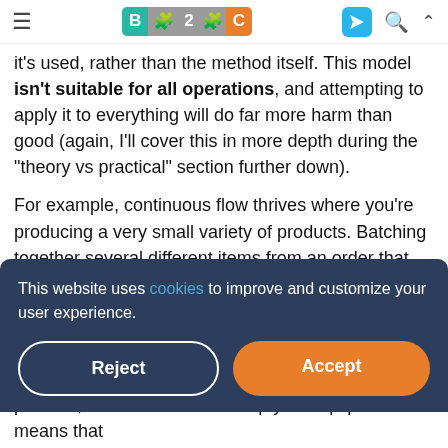B2C [logo]
it's used, rather than the method itself. This model isn't suitable for all operations, and attempting to apply it to everything will do far more harm than good (again, I'll cover this in more depth during the “theory vs practical” section further down).
For example, continuous flow thrives where you’re producing a very small variety of products. Batching together several different items from an order that require different approaches will result in confusion and inefficiency.
This website uses cookies to improve and customize your user experience.
process, the downtime to set up your equipment means that